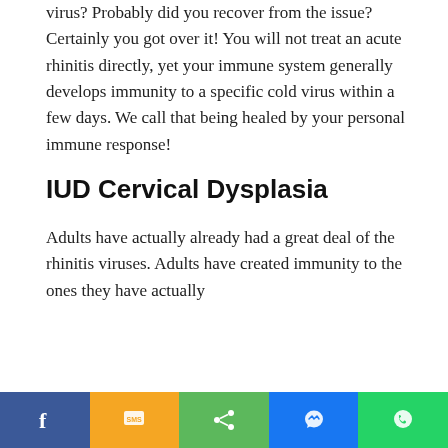virus? Probably did you recover from the issue? Certainly you got over it! You will not treat an acute rhinitis directly, yet your immune system generally develops immunity to a specific cold virus within a few days. We call that being healed by your personal immune response!
IUD Cervical Dysplasia
Adults have actually already had a great deal of the rhinitis viruses. Adults have created immunity to the ones they have actually
[Figure (other): Social sharing bar with Facebook, SMS, Share, Messenger, and WhatsApp buttons]